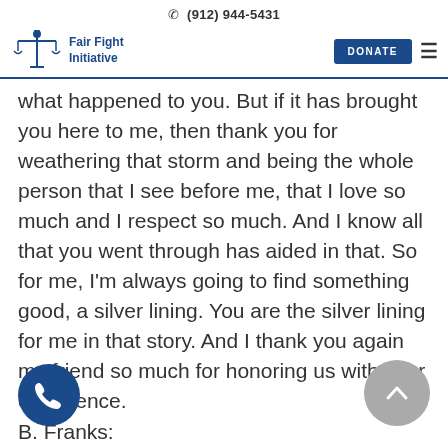(912) 944-5431
[Figure (logo): Fair Fight Initiative logo with scales of justice and raised fist, blue color]
what happened to you. But if it has brought you here to me, then thank you for weathering that storm and being the whole person that I see before me, that I love so much and I respect so much. And I know all that you went through has aided in that. So for me, I'm always going to find something good, a silver lining. You are the silver lining for me in that story. And I thank you again my friend so much for honoring us with your experience.
B. Franks: